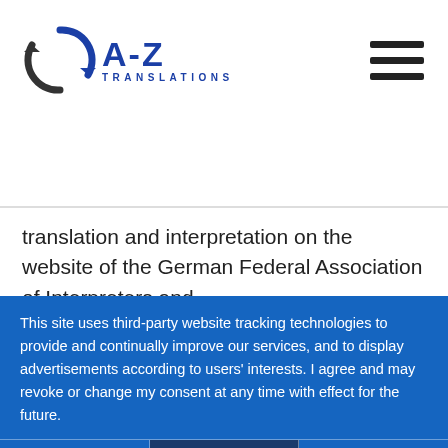[Figure (logo): A-Z Translations logo with circular arrow icon and blue text]
translation and interpretation on the website of the German Federal Association of Interpreters and
This site uses third-party website tracking technologies to provide and continually improve our services, and to display advertisements according to users' interests. I agree and may revoke or change my consent at any time with effect for the future.
DENY   ACCEPT   MORE
Powered by usercentrics & eRecht24